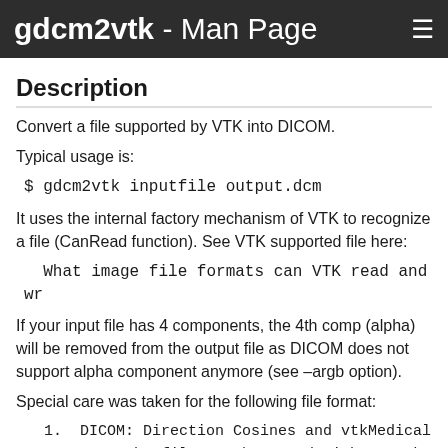gdcm2vtk - Man Page
Description
Convert a file supported by VTK into DICOM.
Typical usage is:
$ gdcm2vtk inputfile output.dcm
It uses the internal factory mechanism of VTK to recognize a file (CanRead function). See VTK supported file here:
What image file formats can VTK read and wr
If your input file has 4 components, the 4th comp (alpha) will be removed from the output file as DICOM does not support alpha component anymore (see –argb option).
Special care was taken for the following file format:
1.  DICOM: Direction Cosines and vtkMedical
2.  BMP: The file can be saved with a Looku
3.  GE Signa: vtkMedicalImageProperties is
4.  MINC: Direction Cosines is passed to